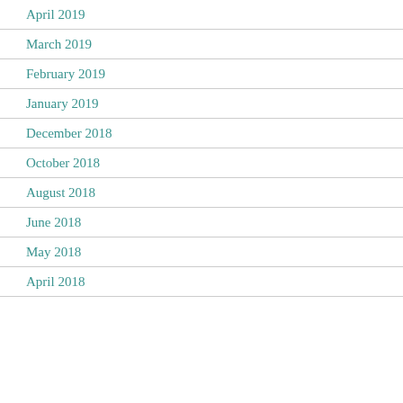April 2019
March 2019
February 2019
January 2019
December 2018
October 2018
August 2018
June 2018
May 2018
April 2018